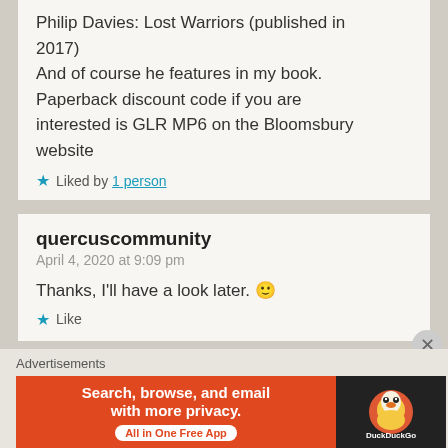Philip Davies: Lost Warriors (published in 2017)
And of course he features in my book. Paperback discount code if you are interested is GLR MP6 on the Bloomsbury website
Liked by 1 person
quercuscommunity
April 4, 2020 at 9:09 pm
Thanks, I'll have a look later. 🙂
Like
Advertisements
[Figure (other): DuckDuckGo advertisement banner: orange left section reads 'Search, browse, and email with more privacy. All in One Free App', dark right section shows DuckDuckGo logo]